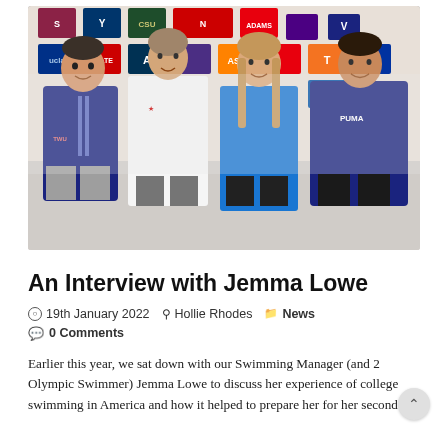[Figure (photo): Four people standing in front of a colorful map of the United States decorated with college/university logos. From left: a man in navy blue zip-up jacket with grey trousers, a tall woman in a white zip-up top, a woman in a blue long-sleeve top with blonde hair, and a man in a navy blue Puma zip-up jacket.]
An Interview with Jemma Lowe
19th January 2022   Hollie Rhodes   News
0 Comments
Earlier this year, we sat down with our Swimming Manager (and 2 Olympic Swimmer) Jemma Lowe to discuss her experience of college swimming in America and how it helped to prepare her for her second